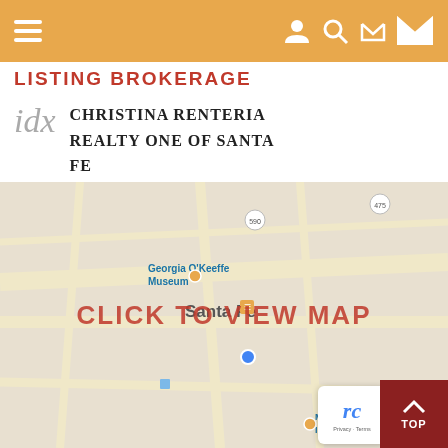LISTING BROKERAGE
idx  CHRISTINA RENTERIA REALTY ONE OF SANTA FE
[Figure (map): Google Maps screenshot showing Santa Fe area with Georgia O'Keeffe Museum label, road 590 and 475 markers. Overlaid with red text: CLICK TO VIEW MAP]